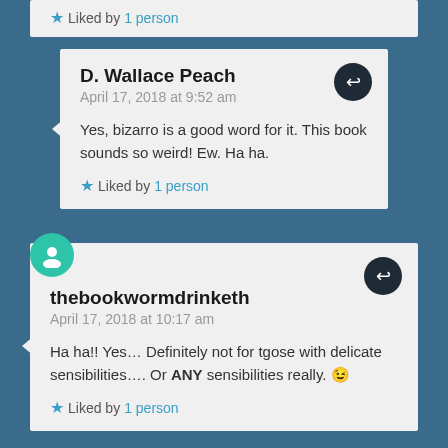★ Liked by 1person
D. Wallace Peach
April 17, 2018 at 9:52 am
Yes, bizarro is a good word for it. This book sounds so weird! Ew. Ha ha.
★ Liked by 1person
thebookwormdrinketh
April 17, 2018 at 10:17 am
Ha ha!! Yes… Definitely not for tgose with delicate sensibilities…. Or ANY sensibilities really. 😉
★ Liked by 1person